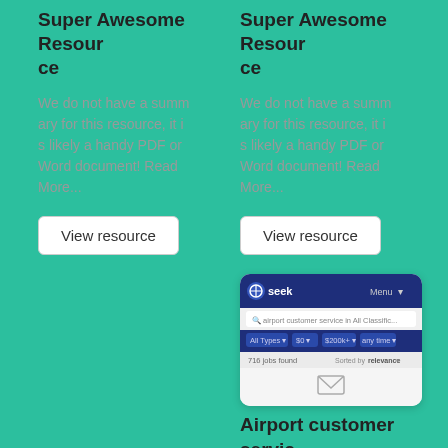Super Awesome Resource
We do not have a summary for this resource, it is likely a handy PDF or Word document! Read More...
View resource
Super Awesome Resource
We do not have a summary for this resource, it is likely a handy PDF or Word document! Read More...
View resource
[Figure (screenshot): Screenshot of SEEK job search website showing search for 'airport customer service in All Classific...' with filters All Types, $0, $200k+, any time. Shows '716 jobs found' sorted by relevance.]
Airport customer service Jobs in All Australia - SEEK